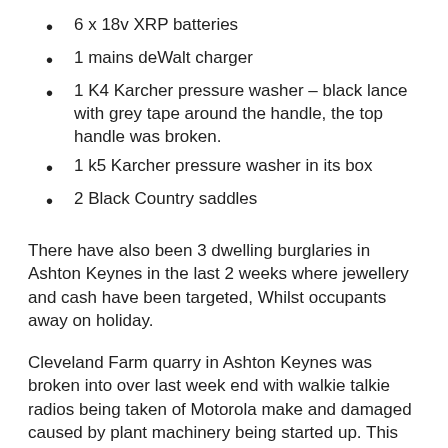6 x 18v XRP batteries
1 mains deWalt charger
1 K4 Karcher pressure washer – black lance with grey tape around the handle, the top handle was broken.
1 k5 Karcher pressure washer in its box
2 Black Country saddles
There have also been 3 dwelling burglaries in Ashton Keynes in the last 2 weeks where jewellery and cash have been targeted, Whilst occupants away on holiday.
Cleveland Farm quarry in Ashton Keynes was broken into over last week end with walkie talkie radios being taken of Motorola make and damaged caused by plant machinery being started up. This quarry on Fridays ham lane is bordered by public footpaths and maybe someone may have heard or saw something whilst on a walk. I would suppose the break in would have occurred on the Sunday – 03/08/14